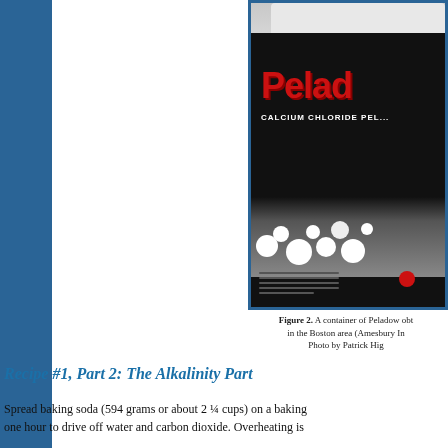[Figure (photo): A container of Peladow calcium chloride pellets product in a black bucket with red branding label, partially cropped.]
Figure 2. A container of Peladow obt... in the Boston area (Amesbury In... Photo by Patrick Hig...
Recipe #1, Part 2: The Alkalinity Part
Spread baking soda (594 grams or about 2 ¼ cups) on a baking... one hour to drive off water and carbon dioxide. Overheating is...